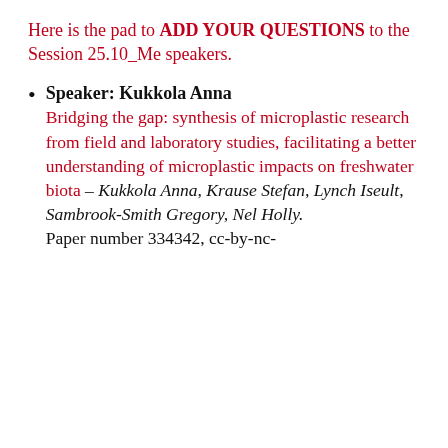Here is the pad to ADD YOUR QUESTIONS to the Session 25.10_Me speakers.
Speaker: Kukkola Anna Bridging the gap: synthesis of microplastic research from field and laboratory studies, facilitating a better understanding of microplastic impacts on freshwater biota - Kukkola Anna, Krause Stefan, Lynch Iseult, Sambrook-Smith Gregory, Nel Holly. Paper number 334342, cc-by-nc-